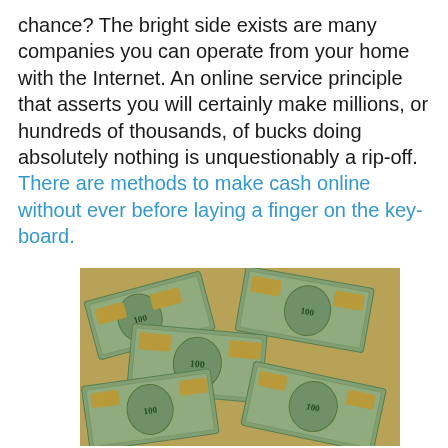chance? The bright side exists are many companies you can operate from your home with the Internet. An online service principle that asserts you will certainly make millions, or hundreds of thousands, of bucks doing absolutely nothing is unquestionably a rip-off. There are methods to make cash online without ever before laying a finger on the key-board.
[Figure (photo): A pile of US $100 dollar bills scattered and overlapping, filling the image frame.]